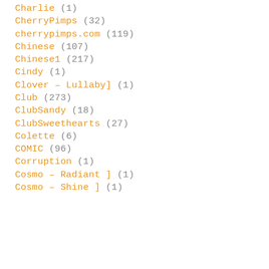Charlie (1)
CherryPimps (32)
cherrypimps.com (119)
Chinese (107)
Chinese1 (217)
Cindy (1)
Clover – Lullaby] (1)
Club (273)
ClubSandy (18)
ClubSweethearts (27)
Colette (6)
COMIC (96)
Corruption (1)
Cosmo – Radiant ] (1)
Cosmo – Shine ] (1)